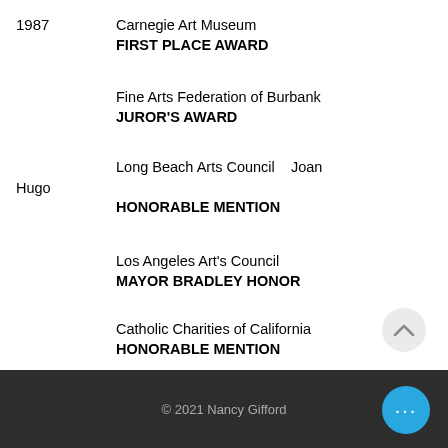1987  Carnegie Art Museum
FIRST PLACE AWARD
Fine Arts Federation of Burbank
JUROR'S AWARD
Long Beach Arts Council    Joan Hugo
HONORABLE MENTION
Los Angeles Art's Council
MAYOR BRADLEY HONOR
Scarsdale Art Society
AWARD of EXCELLENCE
Catholic Charities of California
HONORABLE MENTION
© 2021 Nancy Gifford